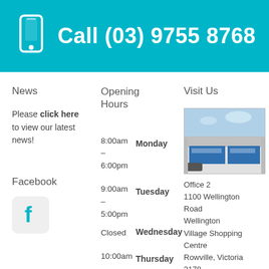Call (03) 9755 8768
News
Opening Hours
Visit Us
Please click here to view our latest news!
| Day | Hours |
| --- | --- |
| Monday | 8:00am – 6:00pm |
| Tuesday | 9:00am – 5:00pm |
| Wednesday | Closed |
| Thursday | 10:00am – 7:00pm |
| Friday | 8:00am |
[Figure (photo): Exterior photo of office building/shop front]
Office 2
1100 Wellington Road
Wellington Village Shopping Centre
Rowville, Victoria 3178
Facebook
[Figure (logo): Facebook logo icon in rounded square]